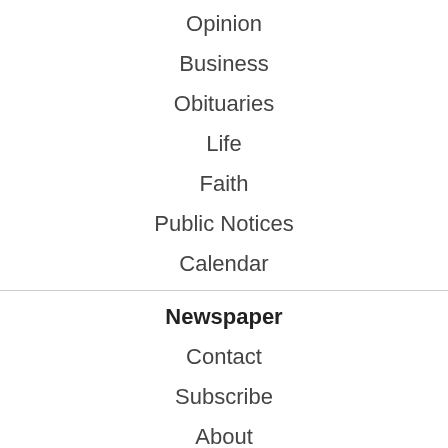Opinion
Business
Obituaries
Life
Faith
Public Notices
Calendar
Newspaper
Contact
Subscribe
About
Website
Terms of Use